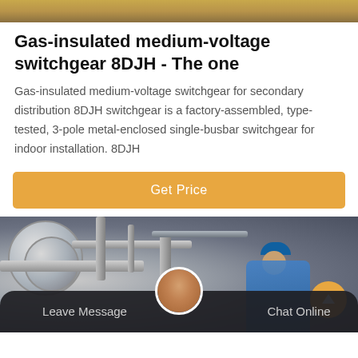[Figure (photo): Top decorative banner with warm golden-brown gradient]
Gas-insulated medium-voltage switchgear 8DJH - The one
Gas-insulated medium-voltage switchgear for secondary distribution 8DJH switchgear is a factory-assembled, type-tested, 3-pole metal-enclosed single-busbar switchgear for indoor installation. 8DJH
[Figure (other): Orange 'Get Price' call-to-action button]
[Figure (photo): Industrial facility photo showing large cylindrical equipment/pipes with workers in blue uniforms and hard hats in the background. An orange scroll-up button is visible in the bottom-right corner.]
Leave Message   Chat Online